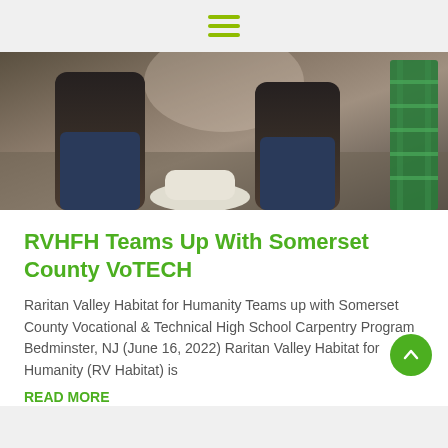Navigation menu icon
[Figure (photo): Two people working on a construction/renovation project indoors, installing a toilet or plumbing fixture, with a green ladder visible on the right.]
RVHFH Teams Up With Somerset County VoTECH
Raritan Valley Habitat for Humanity Teams up with Somerset County Vocational & Technical High School Carpentry Program Bedminster, NJ (June 16, 2022) Raritan Valley Habitat for Humanity (RV Habitat) is
READ MORE